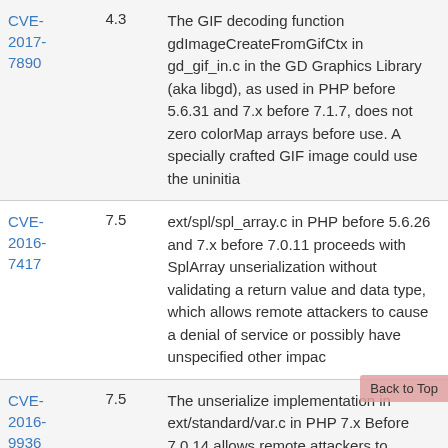| CVE | Score | Description |
| --- | --- | --- |
| CVE-2017-7890 | 4.3 | The GIF decoding function gdImageCreateFromGifCtx in gd_gif_in.c in the GD Graphics Library (aka libgd), as used in PHP before 5.6.31 and 7.x before 7.1.7, does not zero colorMap arrays before use. A specially crafted GIF image could use the uninitia |
| CVE-2016-7417 | 7.5 | ext/spl/spl_array.c in PHP before 5.6.26 and 7.x before 7.0.11 proceeds with SplArray unserialization without validating a return value and data type, which allows remote attackers to cause a denial of service or possibly have unspecified other impac |
| CVE-2016-9936 | 7.5 | The unserialize implementation in ext/standard/var.c in PHP 7.x Before 7.0.14 allows remote attackers to |